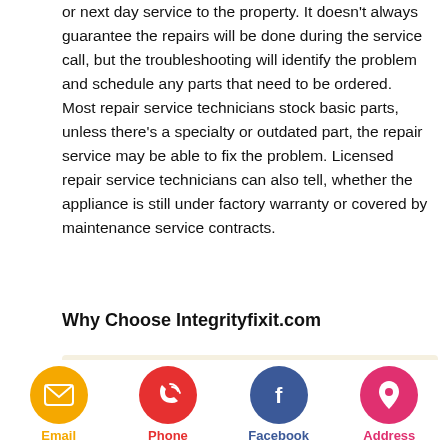or next day service to the property. It doesn't always guarantee the repairs will be done during the service call, but the troubleshooting will identify the problem and schedule any parts that need to be ordered. Most repair service technicians stock basic parts, unless there's a specialty or outdated part, the repair service may be able to fix the problem. Licensed repair service technicians can also tell, whether the appliance is still under factory warranty or covered by maintenance service contracts.
Why Choose Integrityfixit.com
[Figure (other): Partial image banner with sun/logo icon on a light beige/cream background strip, partially visible at bottom of main content area]
[Figure (infographic): Bottom contact bar with four circular icon buttons: Email (yellow/orange circle with envelope icon), Phone (red circle with phone icon), Facebook (blue circle with f icon), Address (pink circle with location pin icon). Labels in matching colors below each icon.]